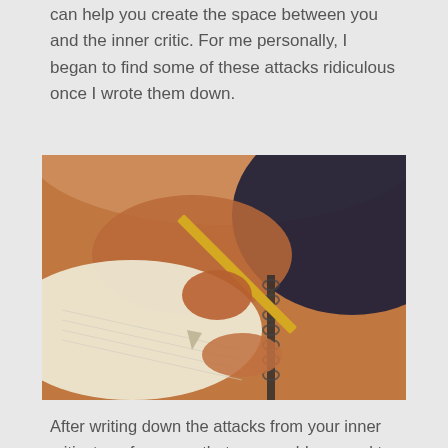can help you create the space between you and the inner critic. For me personally, I began to find some of these attacks ridiculous once I wrote them down.
[Figure (photo): Close-up photo of a person's hand holding a yellow pencil and writing in a spiral notebook. The person appears to be seated, wearing dark clothing. The photo has a warm, slightly blurred background.]
After writing down the attacks from your inner critic, try a few ways that you would respond to the inner critic if it is an external person speaking to you.  What we found in our coaching class is that you cannot argue logically with your inner critic. Don't try to engage your inner critic in a dialog, argue with it or